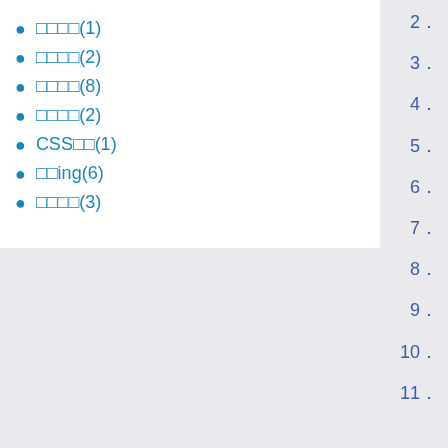□□□□(1)
□□□□(2)
□□□□(8)
□□□□(2)
CSS□□(1)
□□ing(6)
□□□□(3)
2.
3.
4.
5.
6.
7.
8.
9.
10.
11.